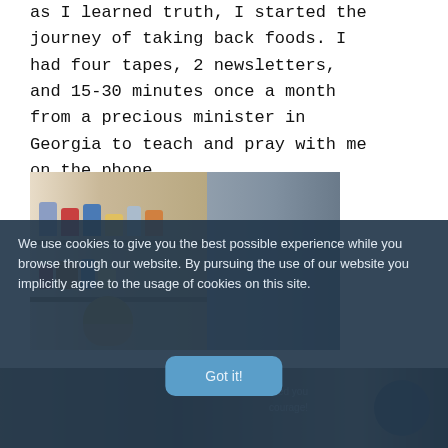as I learned truth, I started the journey of taking back foods. I had four tapes, 2 newsletters, and 15-30 minutes once a month from a precious minister in Georgia to teach and pray with me on the phone.
[Figure (photo): Photo of kitchen pantry/cabinet shelves with various food items and cans on shelves, with person partially visible on right side]
We use cookies to give you the best possible experience while you browse through our website. By pursuing the use of our website you implicitly agree to the usage of cookies on this site.
Got it!